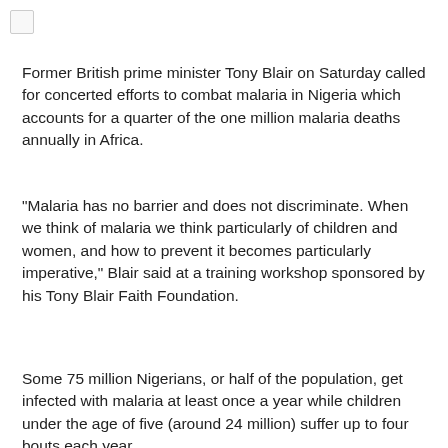Former British prime minister Tony Blair on Saturday called for concerted efforts to combat malaria in Nigeria which accounts for a quarter of the one million malaria deaths annually in Africa.
"Malaria has no barrier and does not discriminate. When we think of malaria we think particularly of children and women, and how to prevent it becomes particularly imperative," Blair said at a training workshop sponsored by his Tony Blair Faith Foundation.
Some 75 million Nigerians, or half of the population, get infected with malaria at least once a year while children under the age of five (around 24 million) suffer up to four bouts each year.